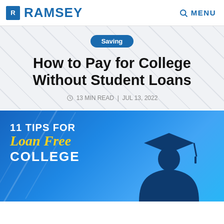RAMSEY | MENU
Saving
How to Pay for College Without Student Loans
13 MIN READ | JUL 13, 2022
[Figure (illustration): Blue gradient background with silhouette of a graduate wearing a cap and gown. Text overlay reads: '11 TIPS FOR Loan Free COLLEGE']